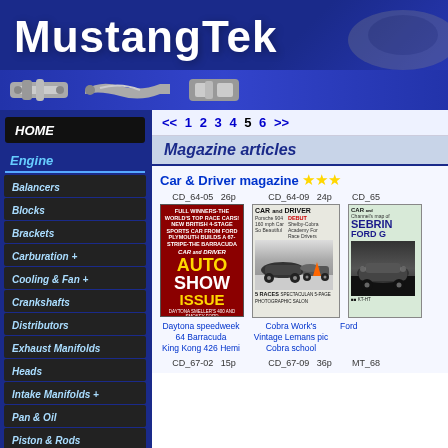[Figure (screenshot): MustangTek website header banner with blue background, bold white title text 'MustangTek', automotive parts images along the bottom strip, and a car silhouette in the top right corner]
MustangTek
HOME
Engine
Balancers
Blocks
Brackets
Carburation +
Cooling & Fan +
Crankshafts
Distributors
Exhaust Manifolds
Heads
Intake Manifolds +
Pan & Oil
Piston & Rods
Pulleys
Valve & Covers +
Drivetrain
<< 1 2 3 4 5 6 >>
Magazine articles
Car & Driver magazine ★★★
CD_64-05   26p
CD_64-09   24p
CD_65
Daytona speedweek 64 Barracuda King Kong 426 Hemi
Cobra Work's Vintage Lemans pic Cobra school
Ford
CD_67-02   15p
CD_67-09   36p
MT_68